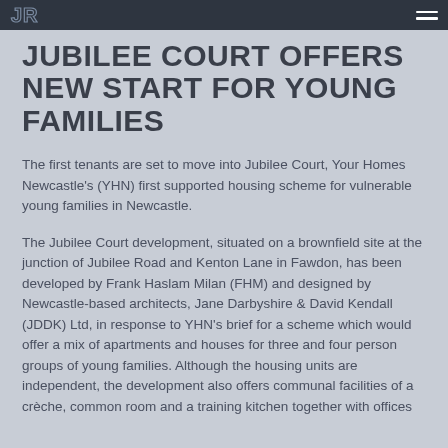JR [logo] — hamburger menu
JUBILEE COURT OFFERS NEW START FOR YOUNG FAMILIES
The first tenants are set to move into Jubilee Court, Your Homes Newcastle's (YHN) first supported housing scheme for vulnerable young families in Newcastle.
The Jubilee Court development, situated on a brownfield site at the junction of Jubilee Road and Kenton Lane in Fawdon, has been developed by Frank Haslam Milan (FHM) and designed by Newcastle-based architects, Jane Darbyshire & David Kendall (JDDK) Ltd, in response to YHN's brief for a scheme which would offer a mix of apartments and houses for three and four person groups of young families. Although the housing units are independent, the development also offers communal facilities of a crèche, common room and a training kitchen together with offices